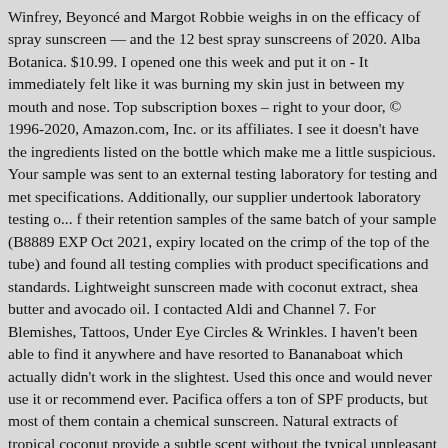Winfrey, Beyoncé and Margot Robbie weighs in on the efficacy of spray sunscreen — and the 12 best spray sunscreens of 2020. Alba Botanica. $10.99. I opened one this week and put it on - It immediately felt like it was burning my skin just in between my mouth and nose. Top subscription boxes – right to your door, © 1996-2020, Amazon.com, Inc. or its affiliates. I see it doesn't have the ingredients listed on the bottle which make me a little suspicious. Your sample was sent to an external testing laboratory for testing and met specifications. Additionally, our supplier undertook laboratory testing o... f their retention samples of the same batch of your sample (B8889 EXP Oct 2021, expiry located on the crimp of the top of the tube) and found all testing complies with product specifications and standards. Lightweight sunscreen made with coconut extract, shea butter and avocado oil. I contacted Aldi and Channel 7. For Blemishes, Tattoos, Under Eye Circles & Wrinkles. I haven't been able to find it anywhere and have resorted to Bananaboat which actually didn't work in the slightest. Used this once and would never use it or recommend ever. Pacifica offers a ton of SPF products, but most of them contain a chemical sunscreen. Natural extracts of tropical coconut provide a subtle scent without the typical unpleasant sunscreen smell. I am a part of Ebay's International Shipping Program! This product is labelled as "Sensitive". DO NOT USE THIS PRODUCT! I bought a bottle...